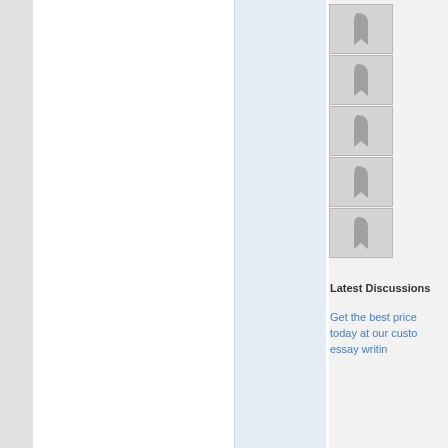[Figure (screenshot): Left gray sidebar panel]
[Figure (screenshot): Main white content area]
[Figure (screenshot): Center light blue column]
[Figure (thumbnail): Thumbnail image 1 with curved bookmark icon]
[Figure (thumbnail): Thumbnail image 2 with curved bookmark icon]
[Figure (thumbnail): Thumbnail image 3 with curved bookmark icon]
[Figure (thumbnail): Thumbnail image 4 with curved bookmark icon]
[Figure (thumbnail): Thumbnail image 5 with curved bookmark icon]
Latest Discussions
Get the best price today at our custom essay writing